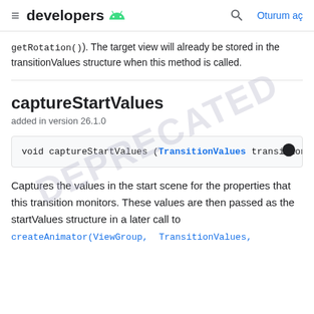≡ developers 🤖  🔍  Oturum aç
getRotation()). The target view will already be stored in the transitionValues structure when this method is called.
captureStartValues
added in version 26.1.0
void captureStartValues (TransitionValues transition
Captures the values in the start scene for the properties that this transition monitors. These values are then passed as the startValues structure in a later call to
createAnimator(ViewGroup, TransitionValues,